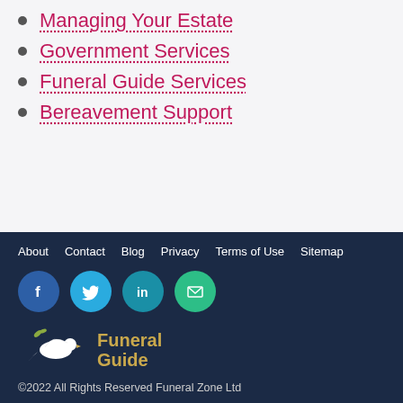Managing Your Estate
Government Services
Funeral Guide Services
Bereavement Support
About  Contact  Blog  Privacy  Terms of Use  Sitemap
[Figure (logo): Funeral Guide logo with white dove and olive branch, gold text reading Funeral Guide]
©2022 All Rights Reserved Funeral Zone Ltd